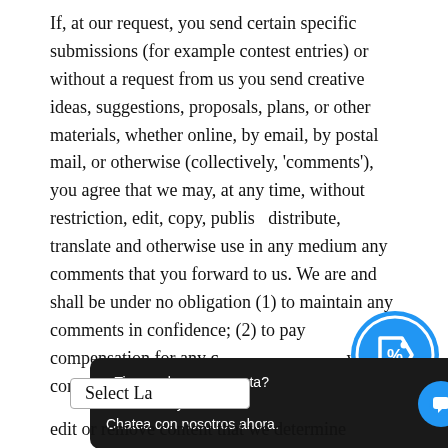If, at our request, you send certain specific submissions (for example contest entries) or without a request from us you send creative ideas, suggestions, proposals, plans, or other materials, whether online, by email, by postal mail, or otherwise (collectively, 'comments'), you agree that we may, at any time, without restriction, edit, copy, publish, distribute, translate and otherwise use in any medium any comments that you forward to us. We are and shall be under no obligation (1) to maintain any comments in confidence; (2) to pay compensation for any c... comm...
[Figure (illustration): Blue circular badge with a price tag icon and percent symbol]
¿Tienes alguna pregunta? Podemos ayudarte. Chatea con nosotros ahora.
Select La...
edit or remove content that we determine